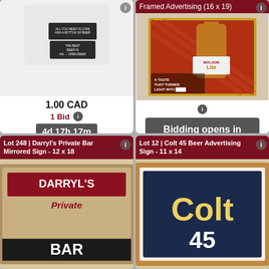[Figure (photo): Auction listing card - beer sign photo with price 1.00 CAD, 1 Bid, timer 4d 17h 17m, Bid 2.00 button]
Framed Advertising (16 x 19)
[Figure (photo): Framed Advertising Molson Lite beer sign photo, Bidding opens in 17d 8h, Shipping Available]
Lot 248 | Darryl's Private Bar Mirrored Sign - 12 x 18
[Figure (photo): Darryl's Private Bar mirrored sign photo]
Lot 12 | Colt 45 Beer Advertising Sign - 11 x 14
[Figure (photo): Colt 45 beer advertising sign photo]